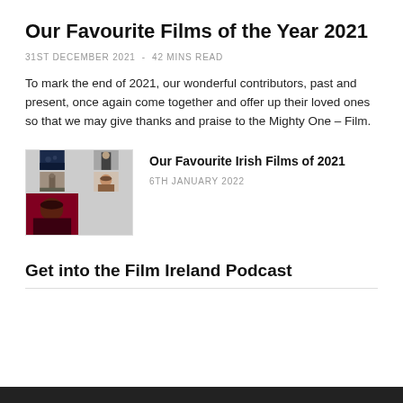Our Favourite Films of the Year 2021
31ST DECEMBER 2021  -  42 MINS READ
To mark the end of 2021, our wonderful contributors, past and present, once again come together and offer up their loved ones so that we may give thanks and praise to the Mighty One – Film.
[Figure (photo): A 2x3 grid collage of film stills showing dark cinematic scenes with people]
Our Favourite Irish Films of 2021
6TH JANUARY 2022
Get into the Film Ireland Podcast